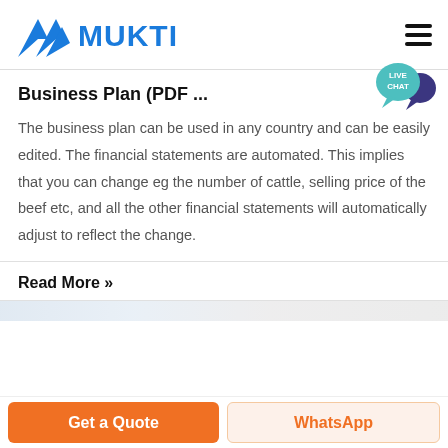[Figure (logo): Mukti logo: blue geometric triangles/chevron mark with bold blue text 'MUKTI']
Business Plan (PDF ...
The business plan can be used in any country and can be easily edited. The financial statements are automated. This implies that you can change eg the number of cattle, selling price of the beef etc, and all the other financial statements will automatically adjust to reflect the change.
Read More »